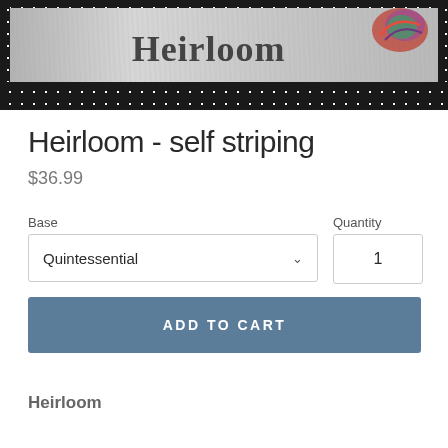[Figure (photo): Banner image showing 'Heirloom' text on a wood grain background with black polka dot border and yarn in the top right corner]
Heirloom - self striping
$36.99
Base
Quantity
Quintessential
1
ADD TO CART
Heirloom